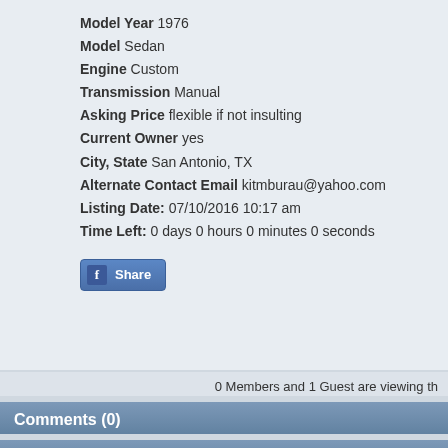Model Year 1976
Model Sedan
Engine Custom
Transmission Manual
Asking Price flexible if not insulting
Current Owner yes
City, State San Antonio, TX
Alternate Contact Email kitmburau@yahoo.com
Listing Date: 07/10/2016 10:17 am
Time Left: 0 days 0 hours 0 minutes 0 seconds
[Figure (other): Facebook Share button]
0 Members and 1 Guest are viewing th
Comments (0)
Return to Classified
Powered by SMF Classifieds
Association Sites